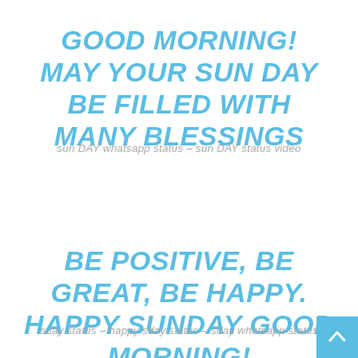GOOD MORNING! MAY YOUR SUN DAY BE FILLED WITH MANY BLESSINGS
sun DAY whatsapp status – sun DAY status video
BE POSITIVE, BE GREAT, BE HAPPY. HAPPY SUNDAY GOOD MORNING!
sday status – happy sday status – sday whatsapp status
[Figure (other): Blue square button with upward-pointing chevron/arrow icon in bottom-right corner]